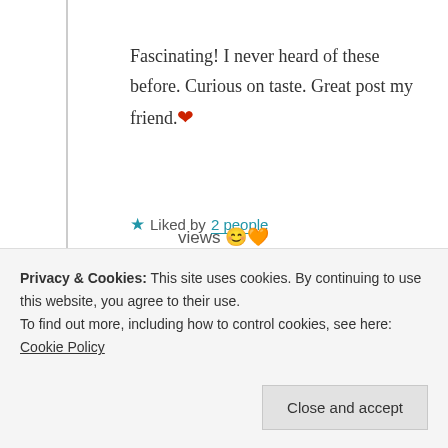Fascinating! I never heard of these before. Curious on taste. Great post my friend. ❤️
★ Liked by 2 people
Log in to Reply
Suma Reddy
18th Jun 2021 at 8:14 pm
Privacy & Cookies: This site uses cookies. By continuing to use this website, you agree to their use.
To find out more, including how to control cookies, see here: Cookie Policy
Close and accept
views 😊 🧡